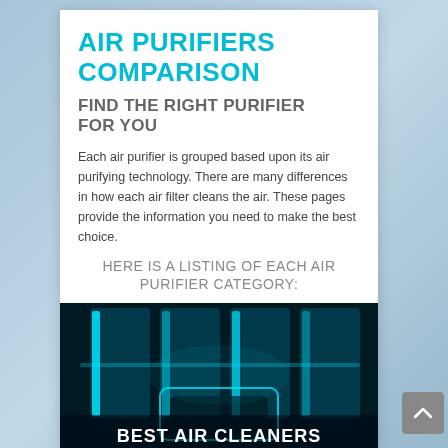AIR PURIFIERS COMPARISON
FIND THE RIGHT PURIFIER FOR YOU
Each air purifier is grouped based upon its air purifying technology.  There are many differences in how each air filter cleans the air. These pages provide the information you need to make the best choice.
HERE IS A LISTING OF EACH AIR PURIFIER CATEGORY:
[Figure (photo): Dark teal/blue image of an air purifier glowing with cyan light, with text overlay 'BEST AIR CLEANERS']